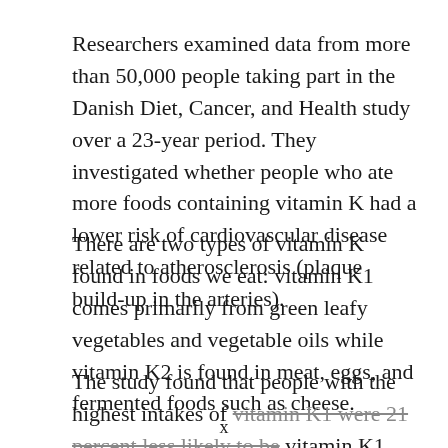Researchers examined data from more than 50,000 people taking part in the Danish Diet, Cancer, and Health study over a 23-year period. They investigated whether people who ate more foods containing vitamin K had a lower risk of cardiovascular disease related to atherosclerosis (plaque build-up in the arteries).
There are two types of vitamin K found in foods we eat: vitamin K1 comes primarily from green leafy vegetables and vegetable oils while vitamin K2 is found in meat, eggs, and fermented foods such as cheese.
The study found that people with the highest intakes of vitamin K1 were 21 percent less likely to be
x